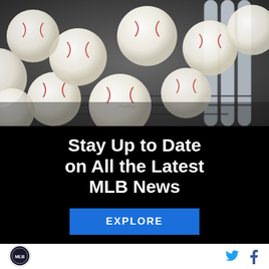[Figure (photo): Close-up photograph of multiple white MLB Rawlings baseballs piled in a wire basket, with baseball bats visible in the background]
Stay Up to Date on All the Latest MLB News
EXPLORE
[Figure (logo): MLB logo circular badge]
[Figure (other): Twitter bird icon and Facebook f icon in blue]